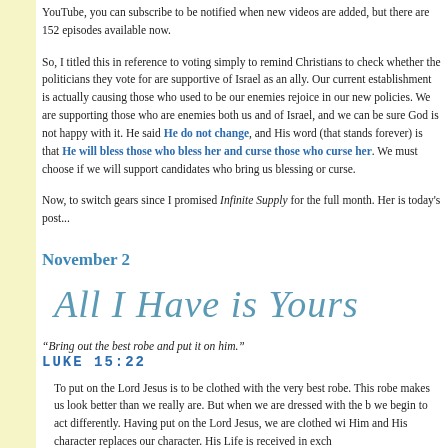YouTube, you can subscribe to be notified when new videos are added, but there are 152 episodes available now.
So, I titled this in reference to voting simply to remind Christians to check whether the politicians they vote for are supportive of Israel as an ally. Our current establishment is actually causing those who used to be our enemies rejoice in our new policies. We are supporting those who are enemies both us and of Israel, and we can be sure God is not happy with it. He said He does not change, and His word (that stands forever) is that He will bless those who bless her and curse those who curse her. We must choose if we will support candidates who bring us blessing or curse.
Now, to switch gears since I promised Infinite Supply for the full month. Here is today's post...
November 2
All I Have is Yours
“Bring out the best robe and put it on him.”
LUKE 15:22
To put on the Lord Jesus is to be clothed with the very best robe. This robe makes us look better than we really are. But when we are dressed with the b... we begin to act differently. Having put on the Lord Jesus, we are clothed wi... Him and His character replaces our character. His Life is received in exch...